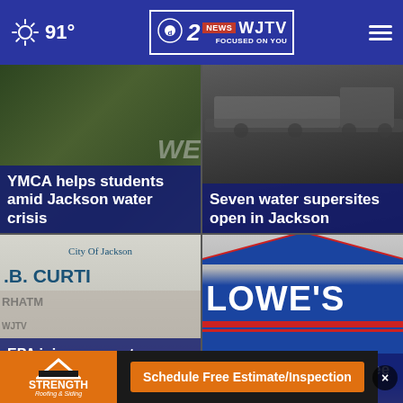91° | WJTV News Focused On You
[Figure (screenshot): News card: YMCA helps students amid Jackson water crisis - green-tinted background with text overlay]
YMCA helps students amid Jackson water crisis
[Figure (screenshot): News card: Seven water supersites open in Jackson - dark background with truck silhouette]
Seven water supersites open in Jackson
[Figure (screenshot): News card: EPA joins crews at Jackson water treatment plant - City of Jackson .B. Curtis sign]
EPA joins crews at Jackson water treatment plant
[Figure (screenshot): News card: Lowe's to distribute free water - Lowe's store sign]
Lowe's to distribute free
[Figure (advertisement): Strength Roofing & Siding ad banner - Schedule Free Estimate/Inspection]